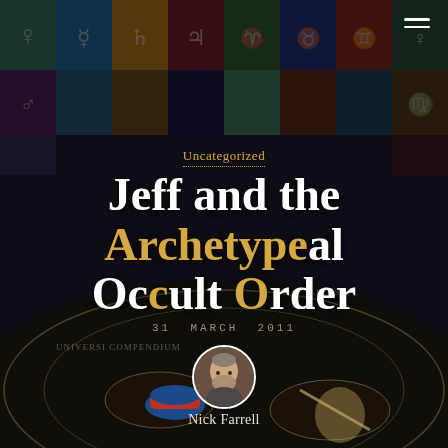[Figure (photo): Background photo of an occult/esoteric room with colorful astrological/alchemical symbol tiles on walls and a circular ceremonial floor with ritual objects]
Uncategorized
Jeff and the Archetypal Occult Order
31 MARCH 2011
[Figure (photo): Circular portrait photo of Nick Farrell, a bearded middle-aged man]
Nick Farrell